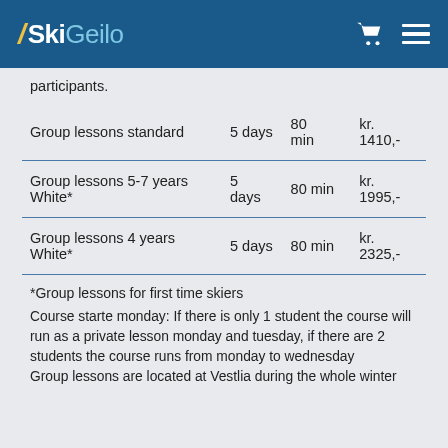SkiGeilo
participants.
|  | Duration | Length | Price |
| --- | --- | --- | --- |
| Group lessons standard | 5 days | 80 min | kr. 1410,- |
| Group lessons 5-7 years White* | 5 days | 80 min | kr. 1995,- |
| Group lessons 4 years White* | 5 days | 80 min | kr. 2325,- |
*Group lessons for first time skiers
Course starte monday: If there is only 1 student the course will run as a private lesson monday and tuesday, if there are 2 students the course runs from monday to wednesday Group lessons are located at Vestlia during the whole winter